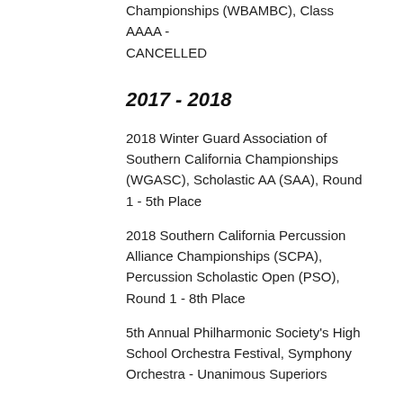Championships (WBAMBC), Class AAAA - CANCELLED
2017 - 2018
2018 Winter Guard Association of Southern California Championships (WGASC), Scholastic AA (SAA), Round 1 - 5th Place
2018 Southern California Percussion Alliance Championships (SCPA), Percussion Scholastic Open (PSO), Round 1 - 8th Place
5th Annual Philharmonic Society's High School Orchestra Festival, Symphony Orchestra - Unanimous Superiors
2018 Saddleback Valley Unified School District Orchestra Festival, Symphony Orchestra - Unanimous Superiors
2018 Saddleback Valley Unified School District Band Festival, Wind Ensemble - Unanimous